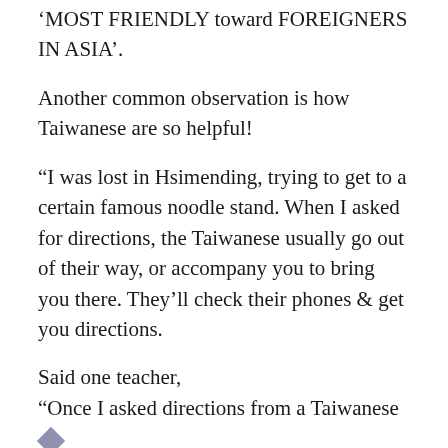'MOST FRIENDLY toward FOREIGNERS IN ASIA'.
Another common observation is how Taiwanese are so helpful!
“I was lost in Hsimending, trying to get to a certain famous noodle stand. When I asked for directions, the Taiwanese usually go out of their way, or accompany you to bring you there. They’ll check their phones & get you directions.
Said one teacher,
“Once I asked directions from a Taiwanese lady, & she didn’t speak English. But she